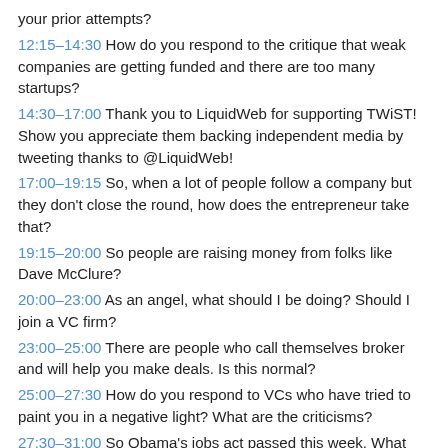your prior attempts?
12:15–14:30 How do you respond to the critique that weak companies are getting funded and there are too many startups?
14:30–17:00 Thank you to LiquidWeb for supporting TWiST! Show you appreciate them backing independent media by tweeting thanks to @LiquidWeb!
17:00–19:15 So, when a lot of people follow a company but they don't close the round, how does the entrepreneur take that?
19:15–20:00 So people are raising money from folks like Dave McClure?
20:00–23:00 As an angel, what should I be doing? Should I join a VC firm?
23:00–25:00 There are people who call themselves broker and will help you make deals. Is this normal?
25:00–27:30 How do you respond to VCs who have tried to paint you in a negative light? What are the criticisms?
27:30–31:00 So Obama's jobs act passed this week. What impact do you think that will have?
31:00–34:30 I saw that Democrats were fighting this citing fears that people will get scammed. Is that a valid concern?
34:30–35:30 If you could raise a million dollars every year, you could essentially fund a Facebook-like company within a few years.
35:30–37:00 Is there a bubble in the angel space?
37:00–41:45 Thank you to Walker Corporate Law for their support! Thank them @ScottEdWalker!
41:45–42:30 So how does the stock market affect things?